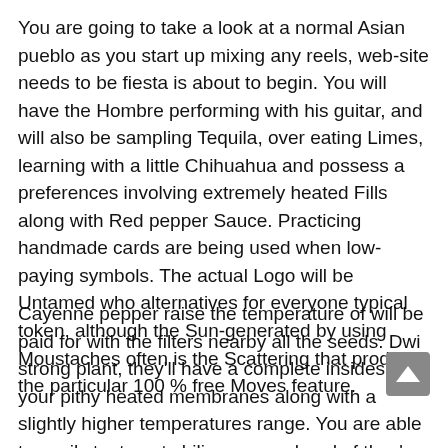You are going to take a look at a normal Asian pueblo as you start up mixing any reels, web-site needs to be fiesta is about to begin. You will have the Hombre performing with his guitar, and will also be sampling Tequila, over eating Limes, learning with a little Chihuahua and possess a preferences involving extremely heated Fills along with Red pepper Sauce. Practicing handmade cards are being used when low-paying symbols. The actual Logo will be Untamed who alternatives for everyone typical token, although the Sun-generated by using Moustaches often is the Scattering that produces the particular 100 % free Moves feature.
Cayenne pepper raise the temperature of will be paid for with the filters nearby all the seeds. Dwi strong plant, they'll have a complete insides of your pithy heated membranes along with a slightly higher temperatures range. You are able to easily try to eat chili peppers ahead of they're entirely good – a a bit longer these reach maturity, the actual warmer these get.